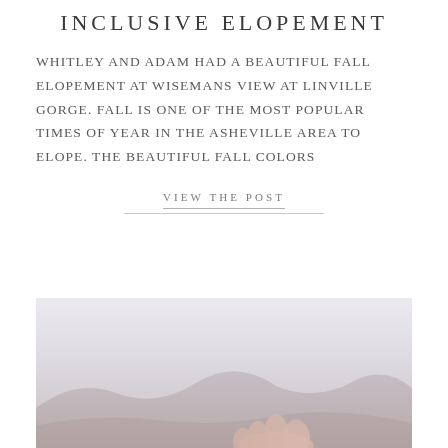INCLUSIVE ELOPEMENT
Whitley and Adam had a beautiful fall elopement at Wisemans View at Linville Gorge. Fall is one of the most popular times of year in the Asheville area to elope. The beautiful fall colors
VIEW THE POST
[Figure (photo): A photograph showing a couple's hands against a soft mountainous background with muted purple and rose tones.]